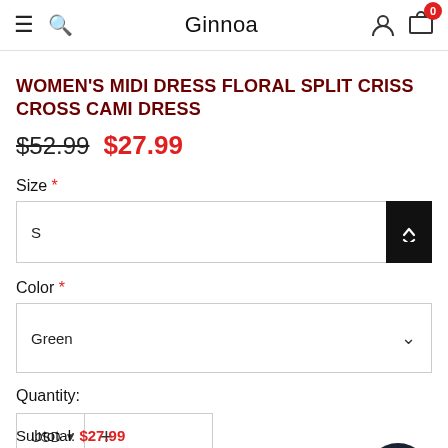Ginnoa
WOMEN'S MIDI DRESS FLORAL SPLIT CRISS CROSS CAMI DRESS
$52.99  $27.99
Size *
S
Color *
Green
Quantity:
USD
Subtotal: $27.99